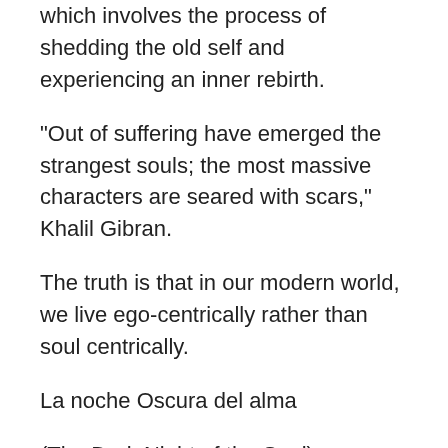which involves the process of shedding the old self and experiencing an inner rebirth.
“Out of suffering have emerged the strangest souls; the most massive characters are seared with scars,” Khalil Gibran.
The truth is that in our modern world, we live ego-centrically rather than soul centrically.
La noche Oscura del alma
(The Dark Night of the Soul).
Wrote Saint John:
“If a man wishes to be sure of the road he’s